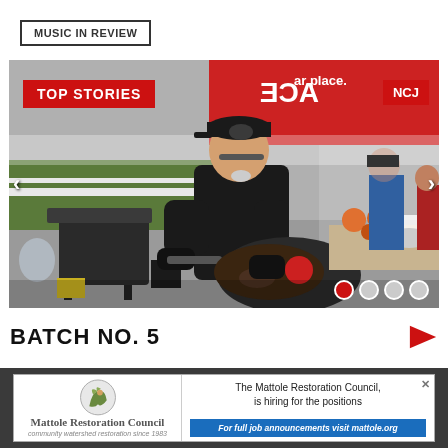MUSIC IN REVIEW
[Figure (photo): Outdoor cooking competition scene: man in black cap and black gloves cooking in a large pan at a market stall with a smoker/grill visible on the left; tents, food ingredients, and other people in the background. ACE hardware banner visible. TOP STORIES and NCJ badges overlaid. Navigation arrows on left and right sides. Dot indicators at bottom right.]
BATCH NO. 5
[Figure (logo): Mattole Restoration Council advertisement: logo with an illustration of a figure by water, text 'Mattole Restoration Council, community watershed restoration since 1983'. Ad text: 'The Mattole Restoration Council, is hiring for the positions'. Blue button: 'For full job announcements visit mattole.org'. Close X button in top right.]